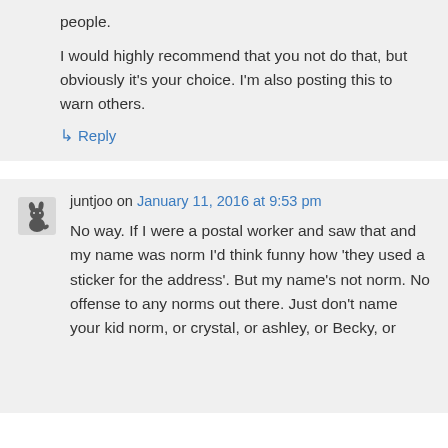people.
I would highly recommend that you not do that, but obviously it's your choice. I'm also posting this to warn others.
↳ Reply
juntjoo on January 11, 2016 at 9:53 pm
No way. If I were a postal worker and saw that and my name was norm I'd think funny how 'they used a sticker for the address'. But my name's not norm. No offense to any norms out there. Just don't name your kid norm, or crystal, or ashley, or Becky, or